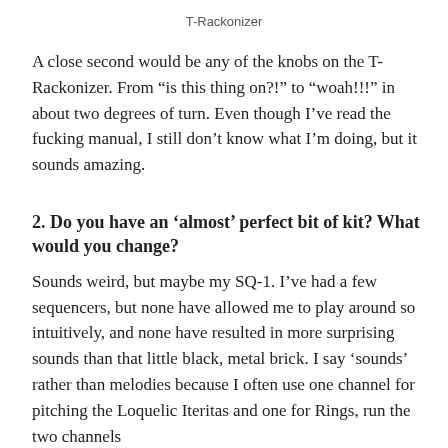T-Rackonizer
A close second would be any of the knobs on the T-Rackonizer. From “is this thing on?!” to “woah!!!” in about two degrees of turn. Even though I’ve read the fucking manual, I still don’t know what I’m doing, but it sounds amazing.
2. Do you have an ‘almost’ perfect bit of kit? What would you change?
Sounds weird, but maybe my SQ-1. I’ve had a few sequencers, but none have allowed me to play around so intuitively, and none have resulted in more surprising sounds than that little black, metal brick. I say ‘sounds’ rather than melodies because I often use one channel for pitching the Loquelic Iteritas and one for Rings, run the two channels